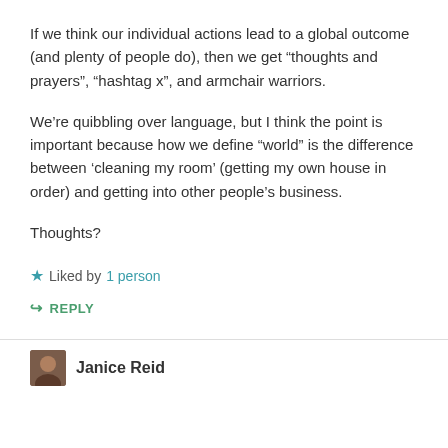If we think our individual actions lead to a global outcome (and plenty of people do), then we get “thoughts and prayers”, “hashtag x”, and armchair warriors.
We’re quibbling over language, but I think the point is important because how we define “world” is the difference between ‘cleaning my room’ (getting my own house in order) and getting into other people’s business.
Thoughts?
★ Liked by 1 person
➜ REPLY
Janice Reid